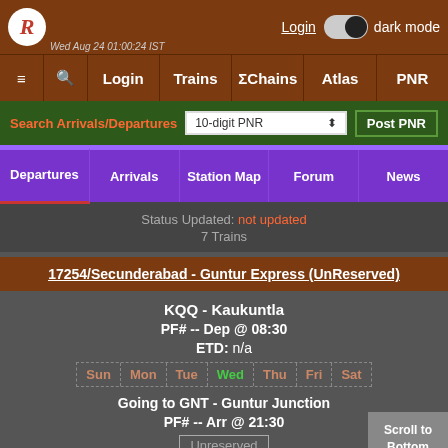Login | dark mode | Wed Aug 24 01:00:24 IST
≡ 🔍 Login | Trains | ΣChains | Atlas | PNR
Search Arrivals/Departures | 10-digit PNR | Post PNR
Departures | Arrivals | Station Map | Forum | News
Status Updated: not updated
7 Trains
17254/Secunderabad - Guntur Express (UnReserved)
KQQ - Kaukuntla
PF# -- Dep @ 08:30
ETD: n/a
Sun Mon Tue Wed Thu Fri Sat
Going to GNT - Guntur Junction
PF# -- Arr @ 21:30
Unreserved
Scroll to Bottom